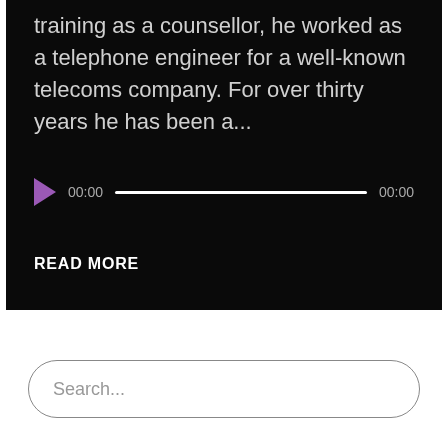training as a counsellor, he worked as a telephone engineer for a well-known telecoms company. For over thirty years he has been a...
[Figure (other): Audio player widget with purple play button, time labels showing 00:00 on both sides, and a white progress bar on dark background]
READ MORE
Search...